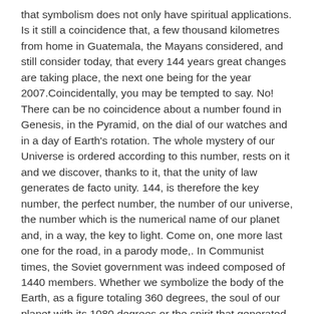that symbolism does not only have spiritual applications. Is it still a coincidence that, a few thousand kilometres from home in Guatemala, the Mayans considered, and still consider today, that every 144 years great changes are taking place, the next one being for the year 2007.Coincidentally, you may be tempted to say. No! There can be no coincidence about a number found in Genesis, in the Pyramid, on the dial of our watches and in a day of Earth's rotation. The whole mystery of our Universe is ordered according to this number, rests on it and we discover, thanks to it, that the unity of law generates de facto unity. 144, is therefore the key number, the perfect number, the number of our universe, the number which is the numerical name of our planet and, in a way, the key to light. Come on, one more last one for the road, in a parody mode,. In Communist times, the Soviet government was indeed composed of 1440 members. Whether we symbolize the body of the Earth, as a figure totaling 360 degrees, the soul of our planet with its 1080 degrees or the spirit that generated everything with its 1440 degrees, all these figures added individually or globally result in numerology to the number 9. This symbol of creation and life as rhythm, interweaving and development, therefore represents the three divine manifestations in the three planes: the world of the spirit, the world of the soul, the world of matter, which gives a triple manifestation of the Trinity - 3 x 3; this is why spiritualist Freemasons